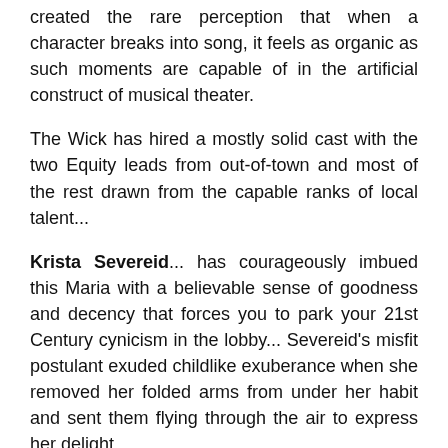created the rare perception that when a character breaks into song, it feels as organic as such moments are capable of in the artificial construct of musical theater.
The Wick has hired a mostly solid cast with the two Equity leads from out-of-town and most of the rest drawn from the capable ranks of local talent...
Krista Severeid... has courageously imbued this Maria with a believable sense of goodness and decency that forces you to park your 21st Century cynicism in the lobby... Severeid's misfit postulant exuded childlike exuberance when she removed her folded arms from under her habit and sent them flying through the air to express her delight.
... the real home run of the evening. Lourelene Snedeker as the Mother Abbess simply embodies everything right about musical theater acting.... It isn't just that she has a transcendent